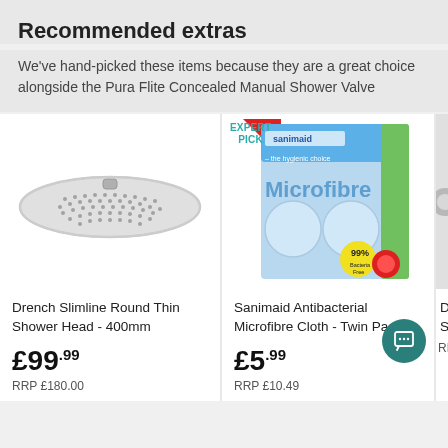Recommended extras
We've hand-picked these items because they are a great choice alongside the Pura Flite Concealed Manual Shower Valve
[Figure (photo): Drench Slimline Round Thin Shower Head 400mm product photo on white background]
Drench Slimline Round Thin Shower Head - 400mm
£99.99
RRP £180.00
[Figure (photo): Sanimaid Antibacterial Microfibre Cloth Twin Pack product packaging with Expert Pick badge]
Sanimaid Antibacterial Microfibre Cloth - Twin Pack
£5.99
RRP £10.49
[Figure (photo): Partial view of a third product (Drench Shower item) cropped at right edge]